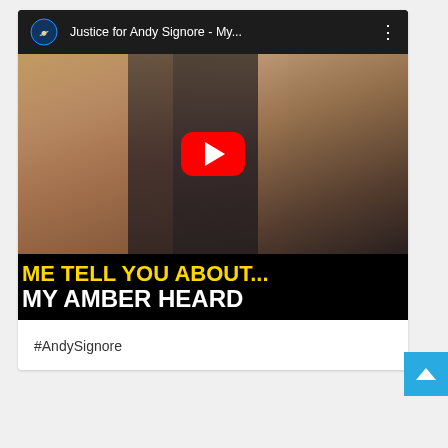[Figure (screenshot): YouTube video thumbnail screenshot showing 'Justice for Andy Signore - My...' with a YouTube play button overlay. The thumbnail shows three people: a blonde woman on the left, a man in the center with fist raised wearing sunglasses, and a bearded man on the right wearing a yellow cap. Bold text overlaid on the bottom reads 'ME TELL YOU ABOUT...' in yellow and 'MY AMBER HEARD' in white on a black background.]
#AndySignore